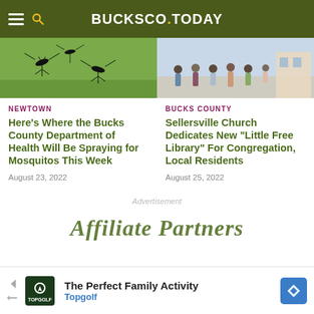BUCKSCO.TODAY
[Figure (photo): Close-up photo of mosquitoes on green grass]
[Figure (photo): Group of people standing outside a building]
NEWTOWN
Here's Where the Bucks County Department of Health Will Be Spraying for Mosquitos This Week
August 23, 2022
BUCKS COUNTY
Sellersville Church Dedicates New "Little Free Library" For Congregation, Local Residents
August 25, 2022
Advertisement
Affiliate Partners
The Perfect Family Activity
Topgolf